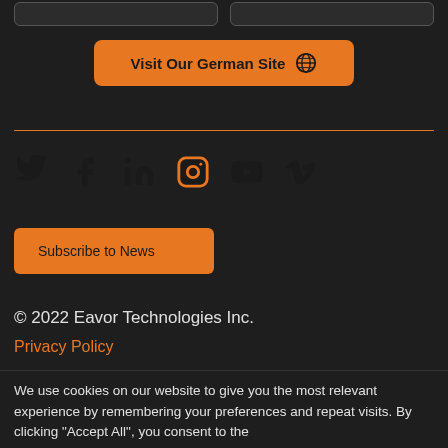[Figure (screenshot): Two partial dark-styled navigation buttons at the top, partially cropped]
[Figure (other): Orange button labeled 'Visit Our German Site' with a globe icon]
[Figure (other): Row of six social media icons: Twitter, Facebook, LinkedIn, Instagram, YouTube, Vimeo — all in dark color on dark background]
[Figure (other): Orange 'Subscribe to News' button]
© 2022 Eavor Technologies Inc.
Privacy Policy
[Figure (other): Orange 'FAQs' button]
We use cookies on our website to give you the most relevant experience by remembering your preferences and repeat visits. By clicking "Accept All", you consent to the use of ALL the cookies. However, you may visit "Cookie